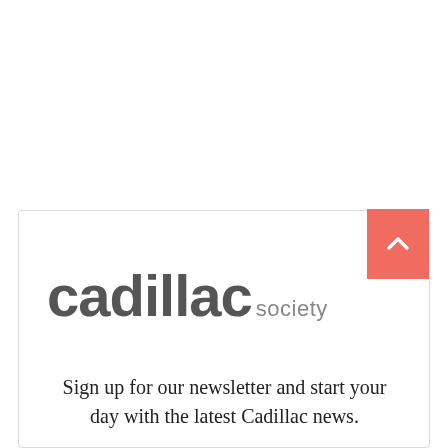[Figure (logo): Cadillac Society logo: large bold gray text 'cadillac' followed by smaller gray text 'society', with a red/salmon square button containing a white upward chevron arrow in the top-right corner]
Sign up for our newsletter and start your day with the latest Cadillac news.